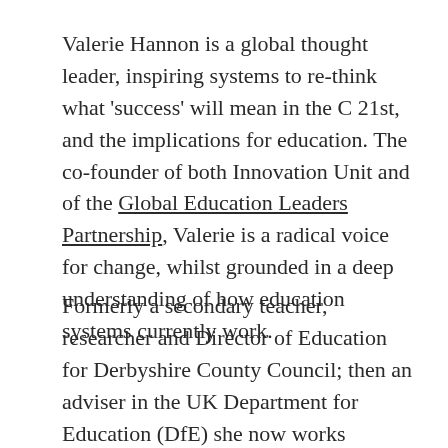Valerie Hannon is a global thought leader, inspiring systems to re-think what 'success' will mean in the C 21st, and the implications for education. The co-founder of both Innovation Unit and of the Global Education Leaders Partnership, Valerie is a radical voice for change, whilst grounded in a deep understanding of how education systems currently work.
Formerly a secondary teacher, researcher and Director of Education for Derbyshire County Council; then an adviser in the UK Department for Education (DfE) she now works independently to support